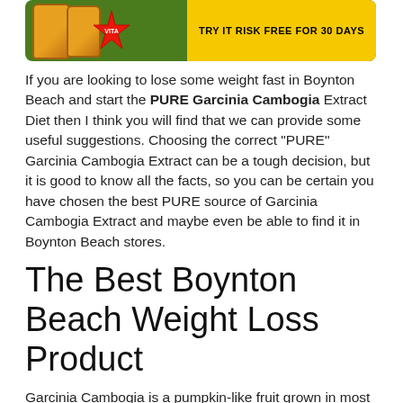[Figure (photo): Banner image showing supplement bottles and a yellow promotional strip with text 'TRY IT RISK FREE FOR 30 DAYS' on a green background]
If you are looking to lose some weight fast in Boynton Beach and start the PURE Garcinia Cambogia Extract Diet then I think you will find that we can provide some useful suggestions. Choosing the correct "PURE" Garcinia Cambogia Extract can be a tough decision, but it is good to know all the facts, so you can be certain you have chosen the best PURE source of Garcinia Cambogia Extract and maybe even be able to find it in Boynton Beach stores.
The Best Boynton Beach Weight Loss Product
Garcinia Cambogia is a pumpkin-like fruit grown in most parts of Asia, Africa and South America. For several decades, this nutritious fruit has been useful in the life of people who wish to shed some extra fats Fast! Prior to advancements in technology which have made extractions possible, this fruit was used as a spice in the preparation of local dishes because its aroma was said to reduce hunger pang intervals in humans.